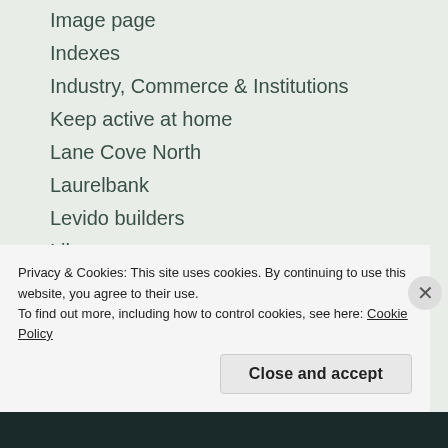Image page
Indexes
Industry, Commerce & Institutions
Keep active at home
Lane Cove North
Laurelbank
Levido builders
Library
Links to Related Sites
Local government areas
Meetings & Talks
Members List
Members Only
Privacy & Cookies: This site uses cookies. By continuing to use this website, you agree to their use.
To find out more, including how to control cookies, see here: Cookie Policy
Close and accept